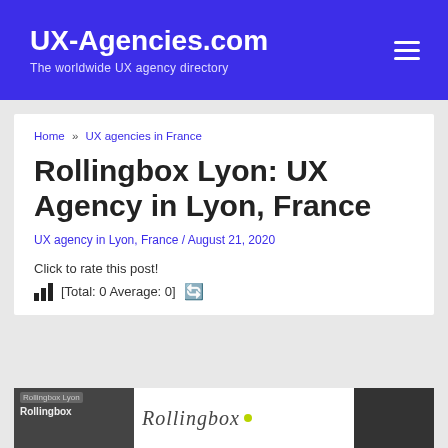UX-Agencies.com — The worldwide UX agency directory
Home » UX agencies in France
Rollingbox Lyon: UX Agency in Lyon, France
UX agency in Lyon, France / August 21, 2020
Click to rate this post!
[Total: 0 Average: 0]
[Figure (screenshot): Screenshot of the Rollingbox website showing the Rollingbox logo/wordmark]